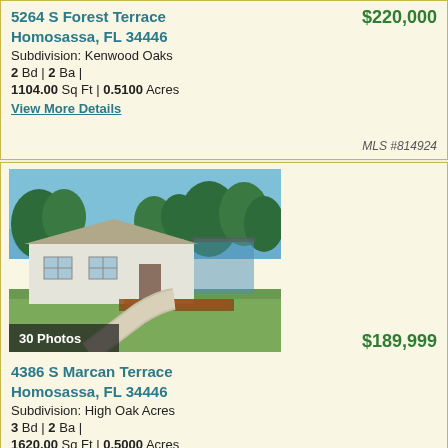5264 S Forest Terrace Homosassa, FL 34446 — $220,000
Subdivision: Kenwood Oaks
2 Bd | 2 Ba |
1104.00 Sq Ft | 0.5100 Acres
View More Details
MLS #814924
[Figure (photo): Exterior photo of 4386 S Marcan Terrace, a single-story manufactured home with white siding, a wooden deck, carport, and curved driveway surrounded by green lawn and trees. Shows '30 Photos' overlay.]
4386 S Marcan Terrace Homosassa, FL 34446 — $189,999
Subdivision: High Oak Acres
3 Bd | 2 Ba |
1620.00 Sq Ft | 0.5000 Acres
View More Details